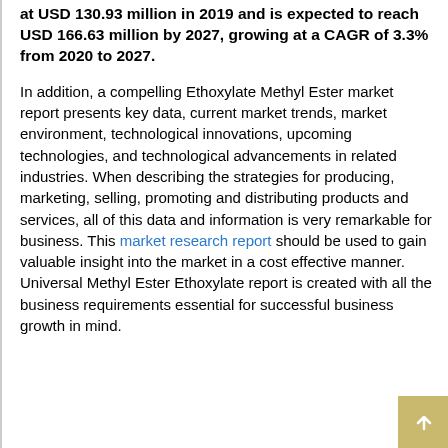at USD 130.93 million in 2019 and is expected to reach USD 166.63 million by 2027, growing at a CAGR of 3.3% from 2020 to 2027.
In addition, a compelling Ethoxylate Methyl Ester market report presents key data, current market trends, market environment, technological innovations, upcoming technologies, and technological advancements in related industries. When describing the strategies for producing, marketing, selling, promoting and distributing products and services, all of this data and information is very remarkable for business. This market research report should be used to gain valuable insight into the market in a cost effective manner. Universal Methyl Ester Ethoxylate report is created with all the business requirements essential for successful business growth in mind.